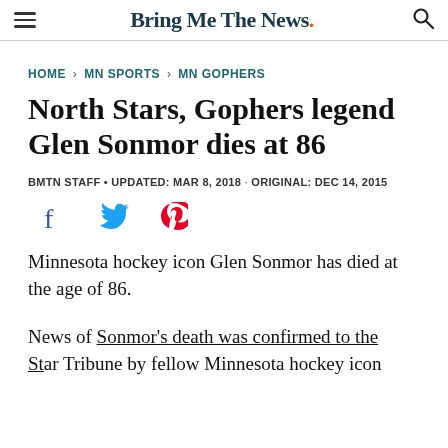Bring Me The News.
HOME > MN SPORTS > MN GOPHERS
North Stars, Gophers legend Glen Sonmor dies at 86
BMTN STAFF • UPDATED: MAR 8, 2018 · ORIGINAL: DEC 14, 2015
[Figure (other): Social share icons: Facebook, Twitter, Pinterest]
Minnesota hockey icon Glen Sonmor has died at the age of 86.
News of Sonmor's death was confirmed to the Star Tribune by fellow Minnesota hockey icon